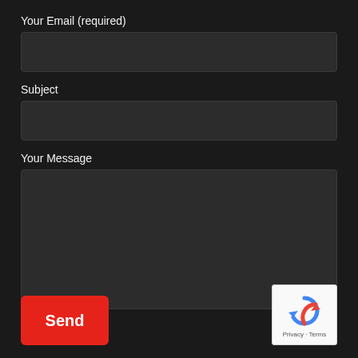Your Email (required)
[Figure (screenshot): Empty email input text field with dark background]
Subject
[Figure (screenshot): Empty subject input text field with dark background]
Your Message
[Figure (screenshot): Empty message textarea with dark background and resize handle]
[Figure (other): Red Send button]
[Figure (other): Google reCAPTCHA badge with privacy and terms links]